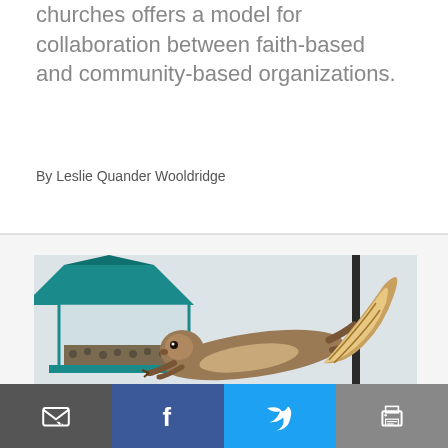churches offers a model for collaboration between faith-based and community-based organizations.
By Leslie Quander Wooldridge
[Figure (photo): A squirrel clinging to a bird feeder pole, stretched out horizontally reaching toward a teal-roofed bird feeder filled with seeds, against a white background.]
Email | Facebook | Twitter | Print share bar